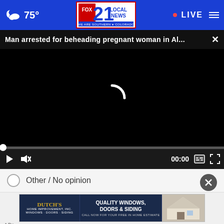75° Fox 21 Local News — WE ARE SOUTHERN COLORADO — LIVE
Man arrested for beheading pregnant woman in Al...
[Figure (screenshot): Video player with black background showing loading spinner (buffering), progress bar at start, and playback controls including play button, mute button, timestamp 00:00, captions button, and fullscreen button]
Other / No opinion
[Figure (other): Advertisement for Dutch's Home Improvement, Inc. — Quality Windows, Doors & Siding — Call Now For Your Free In Home Estimate]
* By